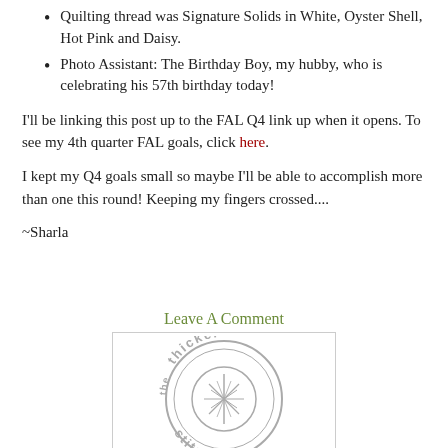Quilting thread was Signature Solids in White, Oyster Shell, Hot Pink and Daisy.
Photo Assistant: The Birthday Boy, my hubby, who is celebrating his 57th birthday today!
I'll be linking this post up to the FAL Q4 link up when it opens. To see my 4th quarter FAL goals, click here.
I kept my Q4 goals small so maybe I'll be able to accomplish more than one this round! Keeping my fingers crossed....
~Sharla
Leave A Comment
[Figure (logo): Circular logo with stylized text 'the thicker stitch' around the edge and a leaf/branch illustration in the center, rendered in gray.]